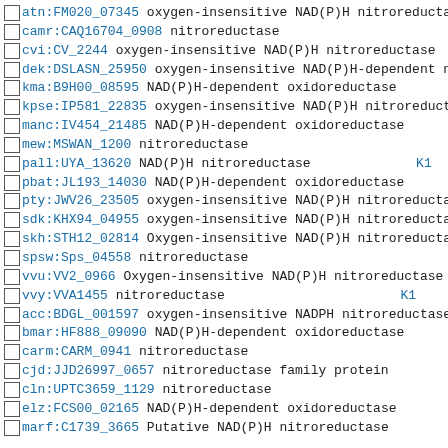atn:FM020_07345 oxygen-insensitive NAD(P)H nitroreducta K1
camr:CAQ16704_0908 nitroreductase
cvi:CV_2244 oxygen-insensitive NAD(P)H nitroreductase K1
dek:DSLASN_25950 oxygen-insensitive NAD(P)H-dependent n K1
kma:B9H00_08595 NAD(P)H-dependent oxidoreductase
kpse:IP581_22835 oxygen-insensitive NAD(P)H nitroreduct K1
manc:IV454_21485 NAD(P)H-dependent oxidoreductase
mew:MSWAN_1200 nitroreductase
pall:UYA_13620 NAD(P)H nitroreductase K1
pbat:JL193_14030 NAD(P)H-dependent oxidoreductase
pty:JWV26_23505 oxygen-insensitive NAD(P)H nitroreducta K1
sdk:KHX94_04955 oxygen-insensitive NAD(P)H nitroreducta K1
skh:STH12_02814 Oxygen-insensitive NAD(P)H nitroreducta K1
spsw:Sps_04558 nitroreductase
vvu:VV2_0966 Oxygen-insensitive NAD(P)H nitroreductase K1
vvy:VVA1455 nitroreductase K1
acc:BDGL_001597 oxygen-insensitive NADPH nitroreductase K1
bmar:HF888_09090 NAD(P)H-dependent oxidoreductase
carm:CARM_0941 nitroreductase
cjd:JJD26997_0657 nitroreductase family protein
cln:UPTC3659_1129 nitroreductase
elz:FCS00_02165 NAD(P)H-dependent oxidoreductase
marf:C1739_3665 Putative NAD(P)H nitroreductase